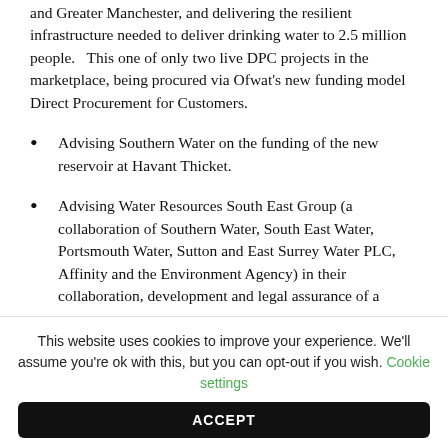and Greater Manchester, and delivering the resilient infrastructure needed to deliver drinking water to 2.5 million people.   This one of only two live DPC projects in the marketplace, being procured via Ofwat's new funding model Direct Procurement for Customers.
Advising Southern Water on the funding of the new reservoir at Havant Thicket.
Advising Water Resources South East Group (a collaboration of Southern Water, South East Water, Portsmouth Water, Sutton and East Surrey Water PLC, Affinity and the Environment Agency) in their collaboration, development and legal assurance of a
This website uses cookies to improve your experience. We'll assume you're ok with this, but you can opt-out if you wish. Cookie settings
ACCEPT